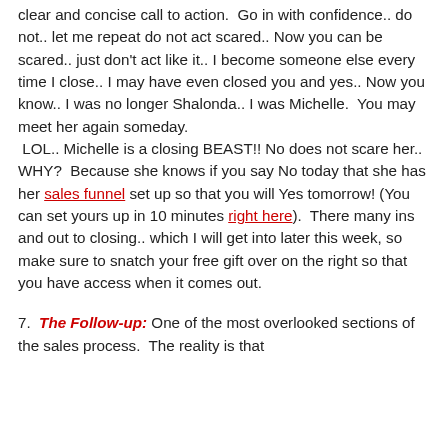clear and concise call to action.  Go in with confidence.. do not.. let me repeat do not act scared.. Now you can be scared.. just don't act like it.. I become someone else every time I close.. I may have even closed you and yes.. Now you know.. I was no longer Shalonda.. I was Michelle.  You may meet her again someday.  LOL.. Michelle is a closing BEAST!! No does not scare her.. WHY?  Because she knows if you say No today that she has her sales funnel set up so that you will Yes tomorrow! (You can set yours up in 10 minutes right here).  There many ins and out to closing.. which I will get into later this week, so make sure to snatch your free gift over on the right so that you have access when it comes out.
7.  The Follow-up: One of the most overlooked sections of the sales process.  The reality is that